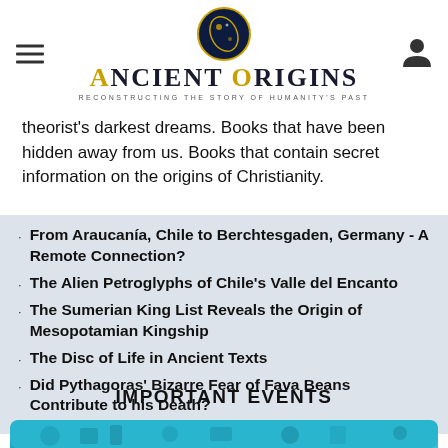Ancient Origins — Reconstructing the Story of Humanity's Past
theorist's darkest dreams. Books that have been hidden away from us. Books that contain secret information on the origins of Christianity.
From Araucanía, Chile to Berchtesgaden, Germany - A Remote Connection?
The Alien Petroglyphs of Chile's Valle del Encanto
The Sumerian King List Reveals the Origin of Mesopotamian Kingship
The Disc of Life in Ancient Texts
Did Pythagoras' Bizarre Fear of Fava Beans Contribute to his Death?
IMPORTANT EVENTS
[Figure (illustration): Partial colorful banner/image at bottom of page, teal/cyan colored strip with illustrated historical scenes]